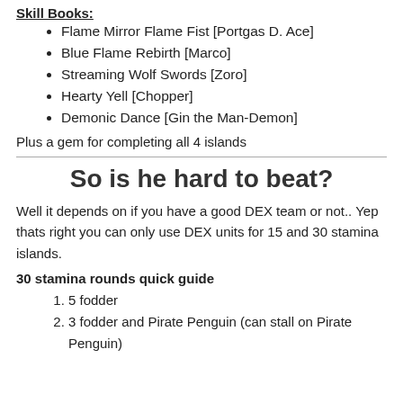Skill Books:
Flame Mirror Flame Fist [Portgas D. Ace]
Blue Flame Rebirth [Marco]
Streaming Wolf Swords [Zoro]
Hearty Yell [Chopper]
Demonic Dance [Gin the Man-Demon]
Plus a gem for completing all 4 islands
So is he hard to beat?
Well it depends on if you have a good DEX team or not.. Yep thats right you can only use DEX units for 15 and 30 stamina islands.
30 stamina rounds quick guide
5 fodder
3 fodder and Pirate Penguin (can stall on Pirate Penguin)